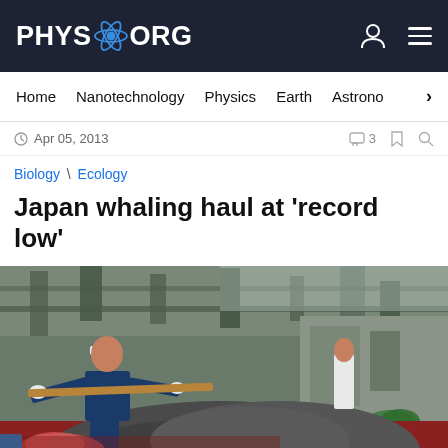PHYS.ORG
Home | Nanotechnology | Physics | Earth | Astrono >
Apr 05, 2013
Biology \ Ecology
Japan whaling haul at 'record low'
[Figure (photo): A worker in blue uniform and white headband uses a wooden tool/pole on a large whale carcass in what appears to be a whaling processing facility. The scene shows blood on the floor and industrial building structures in the background. Another worker in white uniform is visible in the background.]